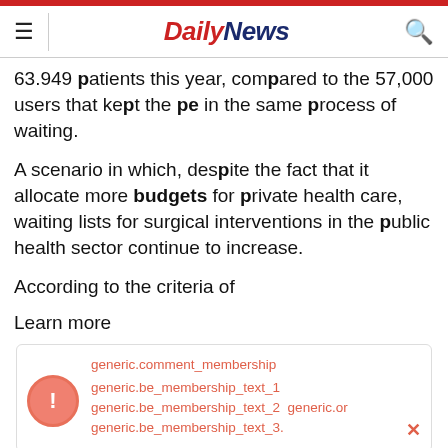DailyNews
63.949 patients this year, compared to the 57,000 users that kept the pe in the same process of waiting.
A scenario in which, despite the fact that it allocate more budgets for private health care, waiting lists for surgical interventions in the public health sector continue to increase.
According to the criteria of
Learn more
[Figure (screenshot): Membership notification box with warning icon, showing generic.comment_membership and generic.be_membership_text_1, generic.be_membership_text_2, generic.or generic.be_membership_text_3 links in red/orange text, with a close (x) button]